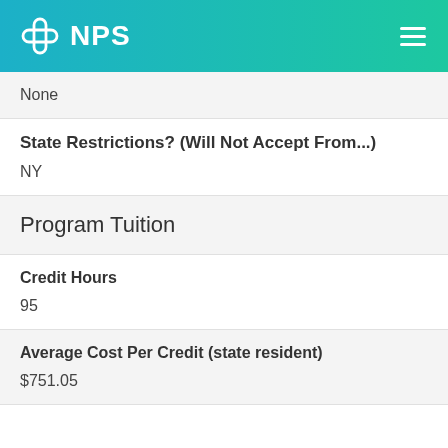NPS
None
State Restrictions? (Will Not Accept From...)
NY
Program Tuition
Credit Hours
95
Average Cost Per Credit (state resident)
$751.05